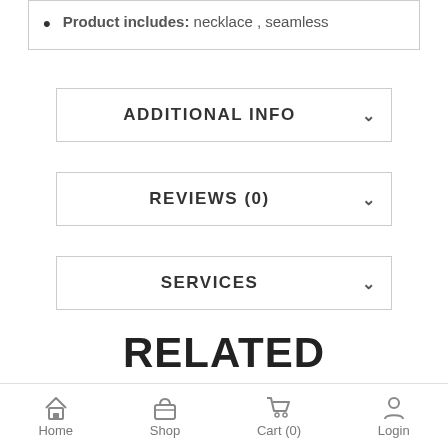Product includes: necklace , seamless
ADDITIONAL INFO
REVIEWS (0)
SERVICES
RELATED PRODUCTS
Home  Shop  Cart (0)  Login